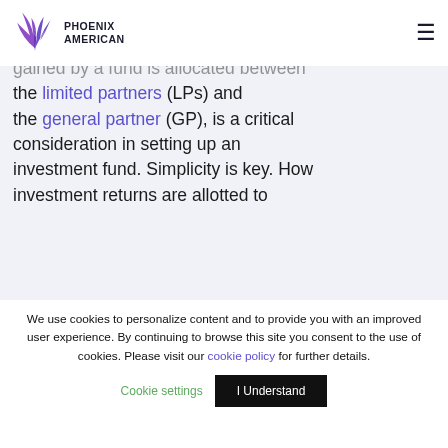Phoenix American
...istribution waterfalls, the ...y which the capital gained by a fund is allocated between the limited partners (LPs) and the general partner (GP), is a critical consideration in setting up an investment fund. Simplicity is key. How investment returns are allotted to
We use cookies to personalize content and to provide you with an improved user experience. By continuing to browse this site you consent to the use of cookies. Please visit our cookie policy for further details.
Cookie settings   I Understand